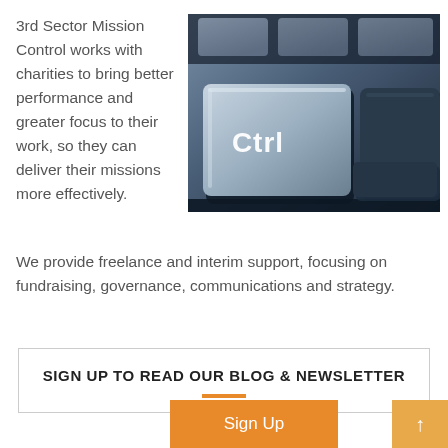3rd Sector Mission Control works with charities to bring better performance and greater focus to their work, so they can deliver their missions more effectively. We provide freelance and interim support, focusing on fundraising, governance, communications and strategy.
[Figure (photo): Close-up photo of a keyboard Ctrl key with blue-tinted lighting]
SIGN UP TO READ OUR BLOG & NEWSLETTER